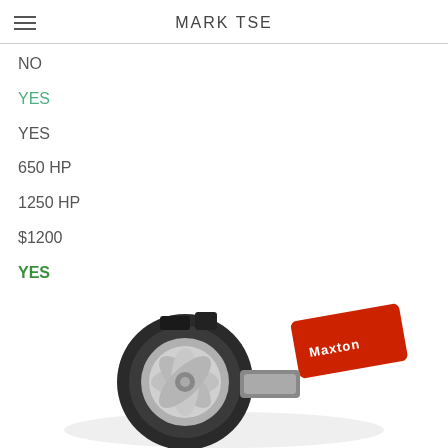MARK TSE
NO
YES
YES
650 HP
1250 HP
$1200
YES
[Figure (photo): Close-up of a high-performance engine part (turbocharger/supercharger component) with a red Maxton-branded casing and metallic silver rotor/impeller, shot on white background.]